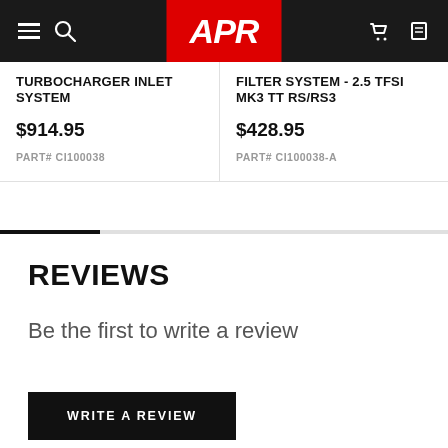APR (logo navigation bar)
TURBOCHARGER INLET SYSTEM
$914.95
PART# CI100038
FILTER SYSTEM - 2.5 TFSI MK3 TT RS/RS3
$428.95
PART# CI100038-A
REVIEWS
Be the first to write a review
WRITE A REVIEW